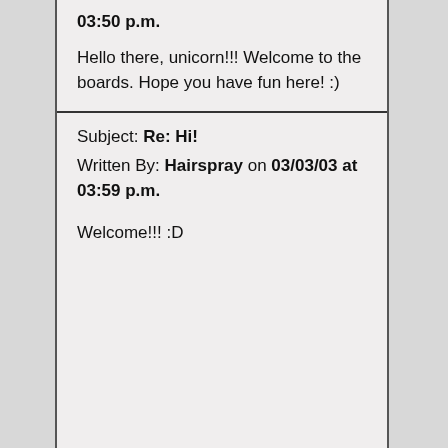03:50 p.m.
Hello there, unicorn!!! Welcome to the boards. Hope you have fun here! :)
Subject: Re: Hi! Written By: Hairspray on 03/03/03 at 03:59 p.m.
Welcome!!!  :D